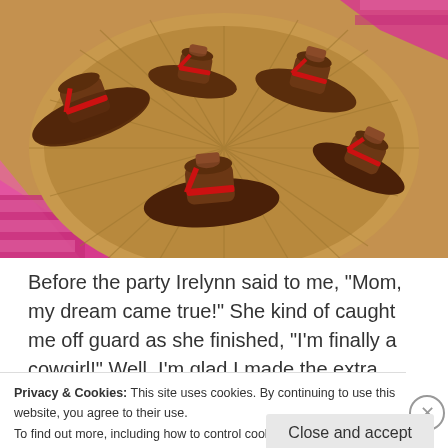[Figure (photo): Chocolate cowboy hat candies on a wicker/wooden plate with a pink and white checkered cloth in the background. The hats are made of dark chocolate with red ribbon decorations and a round chocolate piece on top.]
Before the party Irelynn said to me, "Mom, my dream came true!" She kind of caught me off guard as she finished, "I'm finally a cowgirl!" Well, I'm glad I made the extra effort in putting this all together for her.
Privacy & Cookies: This site uses cookies. By continuing to use this website, you agree to their use.
To find out more, including how to control cookies, see here: Cookie Policy